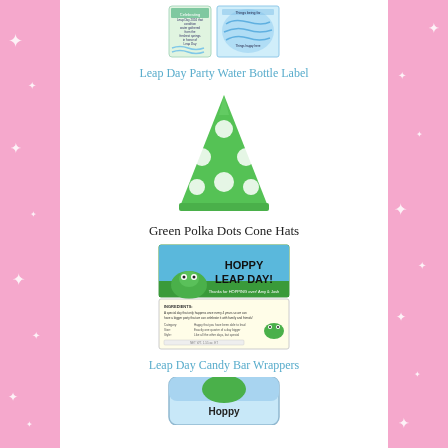[Figure (illustration): Leap Day Party Water Bottle Label product image showing two water bottle labels with blue water design]
Leap Day Party Water Bottle Label
[Figure (illustration): Green polka dot party cone hat with white circular dots on green background]
Green Polka Dots Cone Hats
[Figure (illustration): Leap Day Candy Bar Wrappers showing a frog with HOPPY LEAP DAY text on green pond background, with ingredients panel below]
Leap Day Candy Bar Wrappers
[Figure (illustration): Bottom portion of a Hoppy Leap Day tin container, partially cropped]